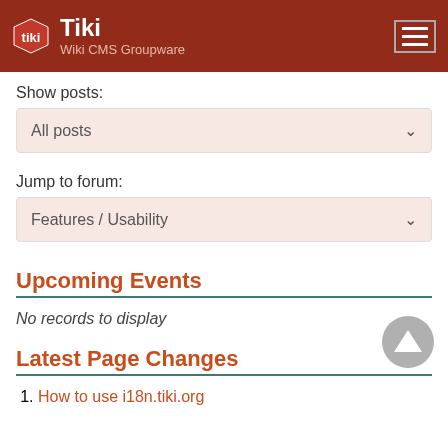Tiki Wiki CMS Groupware
Show posts:
All posts
Jump to forum:
Features / Usability
Upcoming Events
No records to display
Latest Page Changes
How to use i18n.tiki.org